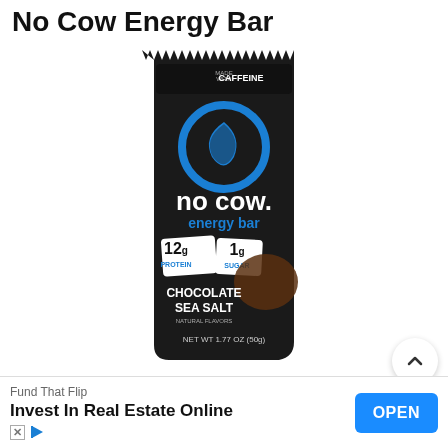No Cow Energy Bar
[Figure (photo): Product photo of a No Cow Energy Bar in Chocolate Sea Salt flavor. Black packaging with blue logo, showing 'MADE WITH CAFFEINE', 12g Protein, 1g Sugar badges. NET WT 1.77 OZ (50g).]
780
[Figure (infographic): Ad banner: Fund That Flip - Invest In Real Estate Online with OPEN button]